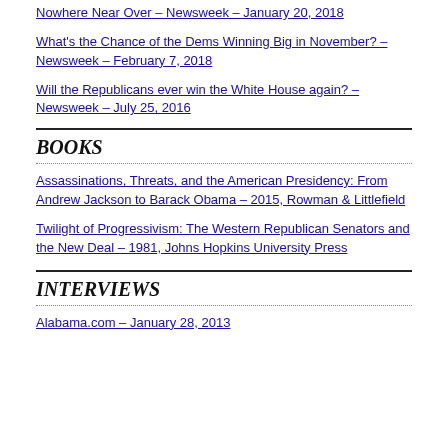Nowhere Near Over – Newsweek – January 20, 2018
What's the Chance of the Dems Winning Big in November? – Newsweek – February 7, 2018
Will the Republicans ever win the White House again? – Newsweek – July 25, 2016
BOOKS
Assassinations, Threats, and the American Presidency: From Andrew Jackson to Barack Obama – 2015, Rowman & Littlefield
Twilight of Progressivism: The Western Republican Senators and the New Deal – 1981, Johns Hopkins University Press
INTERVIEWS
Alabama.com – January 28, 2013